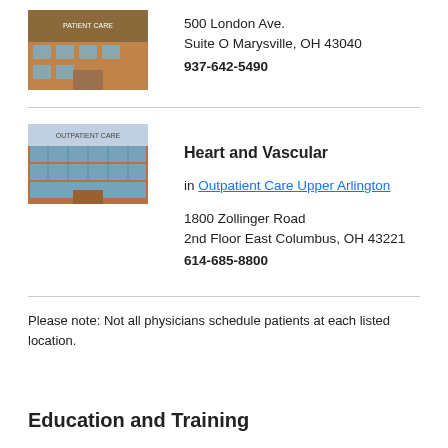[Figure (photo): Photo of a brick medical building exterior - first location]
500 London Ave.
Suite O Marysville, OH 43040
937-642-5490
[Figure (photo): Photo of a modern brick medical building with glass facade - Outpatient Care Upper Arlington]
Heart and Vascular
in Outpatient Care Upper Arlington
1800 Zollinger Road
2nd Floor East Columbus, OH 43221
614-685-8800
Please note: Not all physicians schedule patients at each listed location.
Education and Training